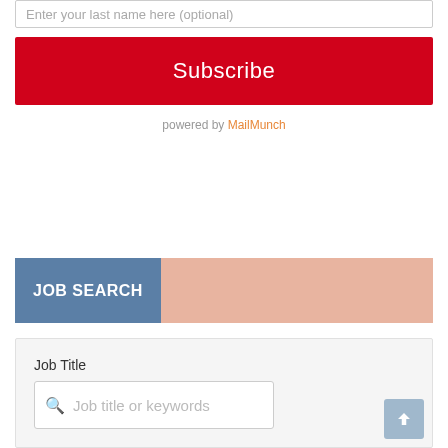Enter your last name here (optional)
Subscribe
powered by MailMunch
JOB SEARCH
Job Title
Job title or keywords